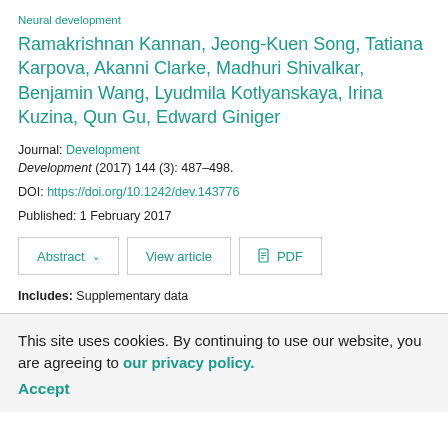Neural development
Ramakrishnan Kannan, Jeong-Kuen Song, Tatiana Karpova, Akanni Clarke, Madhuri Shivalkar, Benjamin Wang, Lyudmila Kotlyanskaya, Irina Kuzina, Qun Gu, Edward Giniger
Journal: Development
Development (2017) 144 (3): 487–498.
DOI: https://doi.org/10.1242/dev.143776
Published: 1 February 2017
Abstract ∨   View article   PDF
Includes: Supplementary data
This site uses cookies. By continuing to use our website, you are agreeing to our privacy policy. Accept